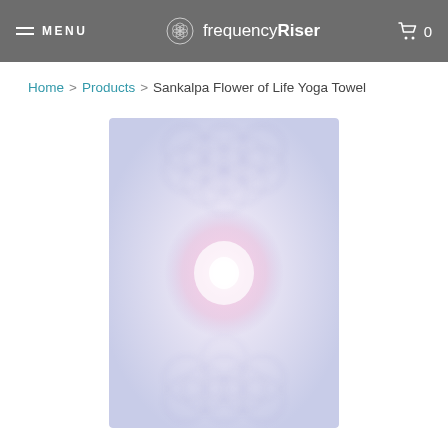MENU  frequencyRiser  0
Home > Products > Sankalpa Flower of Life Yoga Towel
[Figure (photo): Product photo of the Sankalpa Flower of Life Yoga Towel — a blurred rectangular towel with a lavender/blue geometric flower-of-life pattern and a glowing pink/white radial light in the center.]